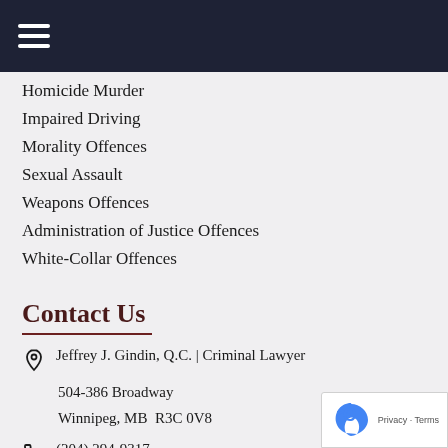≡ (menu icon)
Homicide Murder
Impaired Driving
Morality Offences
Sexual Assault
Weapons Offences
Administration of Justice Offences
White-Collar Offences
Contact Us
Jeffrey J. Gindin, Q.C. | Criminal Lawyer
504-386 Broadway
Winnipeg, MB  R3C 0V8
(204) 294-9317
jeff.gindin@gindinsegal.ca